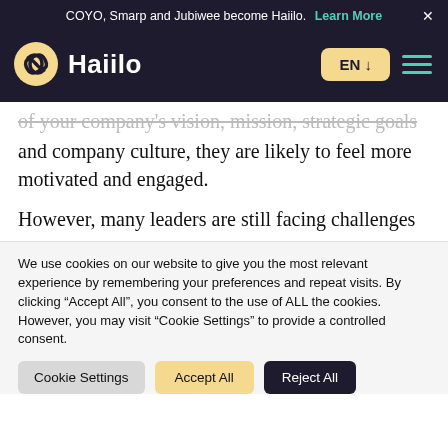COYO, Smarp and Jubiwee become Haiilo. Learn More ×
[Figure (logo): Haiilo logo with nav bar: circular logo icon, 'Haiilo' wordmark in white, EN language dropdown button in yellow, hamburger menu icon in teal]
of your company's vision, mission, strategic goals and company culture, they are likely to feel more motivated and engaged.
However, many leaders are still facing challenges
We use cookies on our website to give you the most relevant experience by remembering your preferences and repeat visits. By clicking "Accept All", you consent to the use of ALL the cookies. However, you may visit "Cookie Settings" to provide a controlled consent.